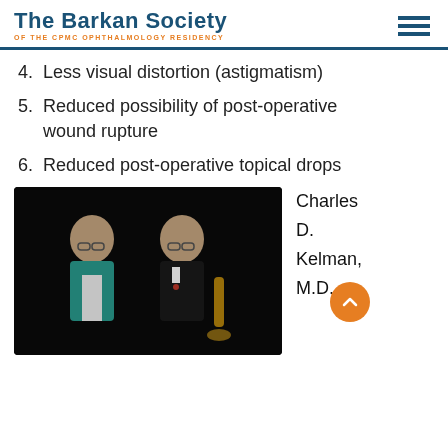The Barkan Society OF THE CPMC OPHTHALMOLOGY RESIDENCY
4. Less visual distortion (astigmatism)
5. Reduced possibility of post-operative wound rupture
6. Reduced post-operative topical drops
[Figure (photo): Photo of Charles D. Kelman M.D. shown twice side by side — once in surgical scrubs and once in a tuxedo holding a saxophone, against a dark background]
Charles D. Kelman, M.D.